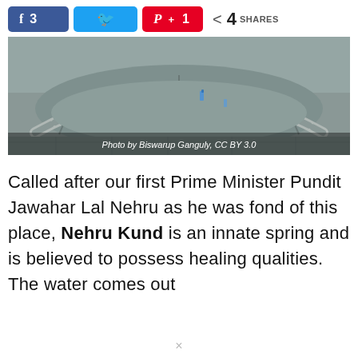[Figure (other): Social sharing buttons bar showing Facebook (3 shares), Twitter, Pinterest (1 share), and total 4 SHARES]
[Figure (photo): Stone circular kund (spring) with water, photographed from above. Caption: Photo by Biswarup Ganguly, CC BY 3.0]
Photo by Biswarup Ganguly, CC BY 3.0
Called after our first Prime Minister Pundit Jawahar Lal Nehru as he was fond of this place, Nehru Kund is an innate spring and is believed to possess healing qualities. The water comes out